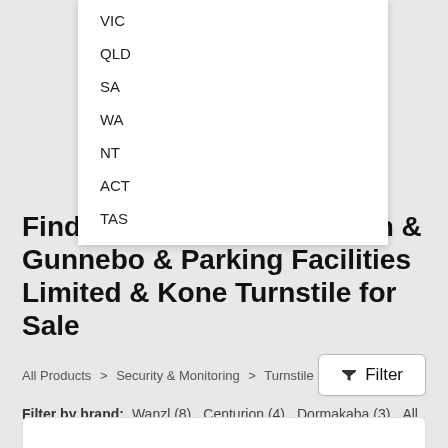VIC
QLD
SA
WA
NT
ACT
TAS
Find a Magnetic & Hikvision & Gunnebo & Parking Facilities Limited & Kone Turnstile for Sale
All Products > Security & Monitoring > Turnstile
Filter by brand: Wanzl (8) Centurion (4) Dormakaba (3) All
Turnstile Insights